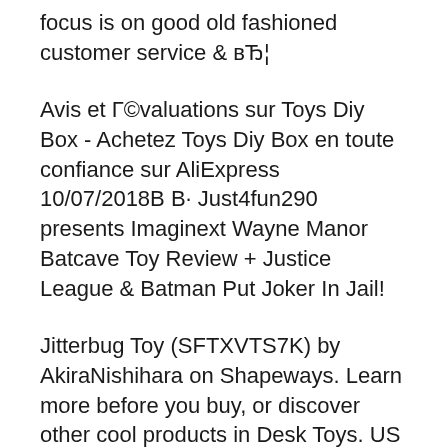focus is on good old fashioned customer service & вЂ¦
Avis et Г©valuations sur Toys Diy Box - Achetez Toys Diy Box en toute confiance sur AliExpress 10/07/2018В В· Just4fun290 presents Imaginext Wayne Manor Batcave Toy Review + Justice League & Batman Put Joker In Jail!
Jitterbug Toy (SFTXVTS7K) by AkiraNishihara on Shapeways. Learn more before you buy, or discover other cool products in Desk Toys. US $6.99 - Fidget Spinner / Hand Spinner / Spinning Top Stress and Anxiety Relief / Focus Toy / Office Desk Toys ABS Pieces Teen / Adults' Gift 2020. Shop for cheap Fidget